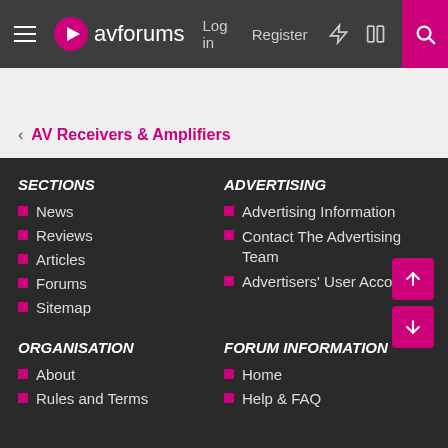avforums — Log in  Register
AV Receivers & Amplifiers
SECTIONS
News
Reviews
Articles
Forums
Sitemap
ADVERTISING
Advertising Information
Contact The Advertising Team
Advertisers' User Accounts
ORGANISATION
About
Rules and Terms
FORUM INFORMATION
Home
Help & FAQ